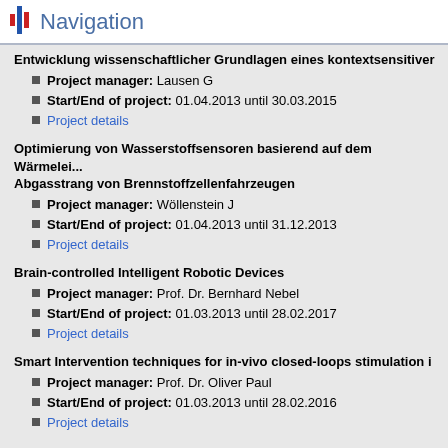Navigation
Entwicklung wissenschaftlicher Grundlagen eines kontextsensitive...
Project manager: Lausen G
Start/End of project: 01.04.2013 until 30.03.2015
Project details
Optimierung von Wasserstoffsensoren basierend auf dem Wärmelei... Abgasstrang von Brennstoffzellenfahrzeugen
Project manager: Wöllenstein J
Start/End of project: 01.04.2013 until 31.12.2013
Project details
Brain-controlled Intelligent Robotic Devices
Project manager: Prof. Dr. Bernhard Nebel
Start/End of project: 01.03.2013 until 28.02.2017
Project details
Smart Intervention techniques for in-vivo closed-loops stimulation i...
Project manager: Prof. Dr. Oliver Paul
Start/End of project: 01.03.2013 until 28.02.2016
Project details